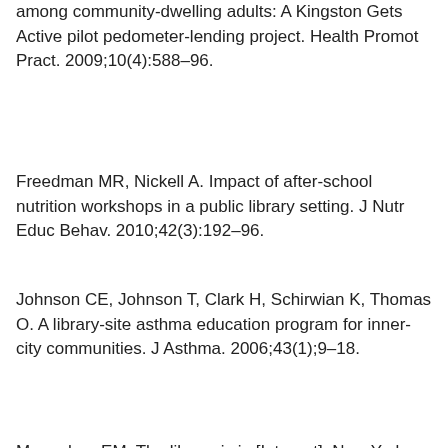among community-dwelling adults: A Kingston Gets Active pilot pedometer-lending project. Health Promot Pract. 2009;10(4):588–96.
Freedman MR, Nickell A. Impact of after-school nutrition workshops in a public library setting. J Nutr Educ Behav. 2010;42(3):192–96.
Johnson CE, Johnson T, Clark H, Schirwian K, Thomas O. A library-site asthma education program for inner-city communities. J Asthma. 2006;43(1);9–18.
Monaghan EM. The library is in [Internet]. New York, NY: Library Journal [6 Oct 2016; cited 28 Dec 2019]. https://www.libraryjournal.com/?detailStory=the-library-is-in.
Xie, B. Improving older adults' e-health literacy